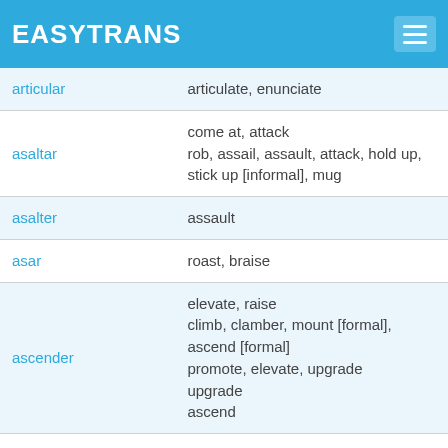EASYTRANS
| Spanish | English |
| --- | --- |
| articular | articulate, enunciate |
| asaltar | come at, attack
rob, assail, assault, attack, hold up, stick up [informal], mug |
| asalter | assault |
| asar | roast, braise |
| ascender | elevate, raise
climb, clamber, mount [formal], ascend [formal]
promote, elevate, upgrade
upgrade
ascend |
| asediar | besiege |
| (partial) | assure, guarantee |